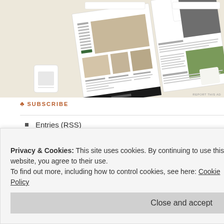[Figure (screenshot): Advertisement showing magazine/blog mockup with food photography and typography on beige background, with 'REPORT THIS AD' label]
SUBSCRIBE
Entries (RSS)
Comments (RSS)
ARCHIVES
Privacy & Cookies: This site uses cookies. By continuing to use this website, you agree to their use.
To find out more, including how to control cookies, see here: Cookie Policy
Close and accept